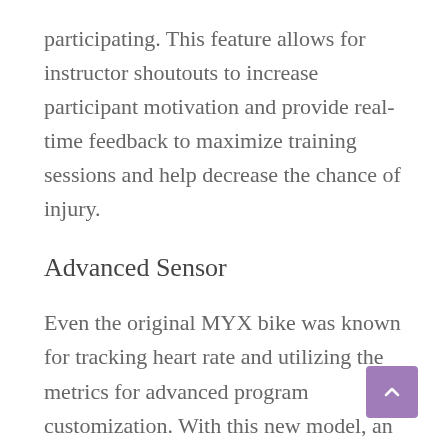participating. This feature allows for instructor shoutouts to increase participant motivation and provide real-time feedback to maximize training sessions and help decrease the chance of injury.
Advanced Sensor
Even the original MYX bike was known for tracking heart rate and utilizing the metrics for advanced program customization. With this new model, an advanced tracker that is 10% more accurate than other sensors on market is included and records speed,